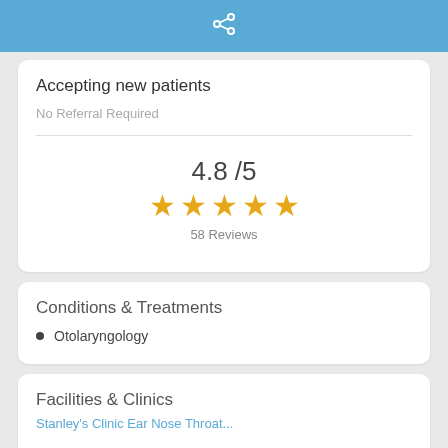share icon
Accepting new patients
No Referral Required
4.8 /5
[Figure (other): Five gold stars rating display]
58 Reviews
Conditions & Treatments
Otolaryngology
Facilities & Clinics